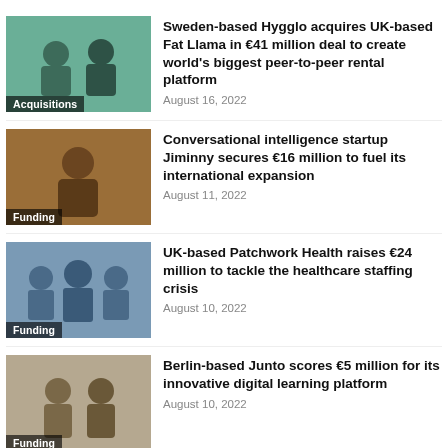[Figure (photo): Two people sitting on a sofa, man in blue shirt and woman in black top, category badge: Acquisitions]
Sweden-based Hygglo acquires UK-based Fat Llama in €41 million deal to create world's biggest peer-to-peer rental platform
August 16, 2022
[Figure (photo): Man in dark blazer against brown background, category badge: Funding]
Conversational intelligence startup Jiminny secures €16 million to fuel its international expansion
August 11, 2022
[Figure (photo): Three men posing together indoors, category badge: Funding]
UK-based Patchwork Health raises €24 million to tackle the healthcare staffing crisis
August 10, 2022
[Figure (photo): Two men posing together indoors, category badge: Funding]
Berlin-based Junto scores €5 million for its innovative digital learning platform
August 10, 2022